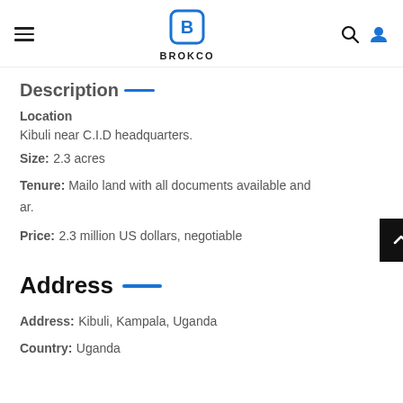BROKCO
Description
Location
Kibuli near C.I.D headquarters.
Size: 2.3 acres
Tenure: Mailo land with all documents available and clear.
Price: 2.3 million US dollars, negotiable
Address
Address: Kibuli, Kampala, Uganda
Country: Uganda